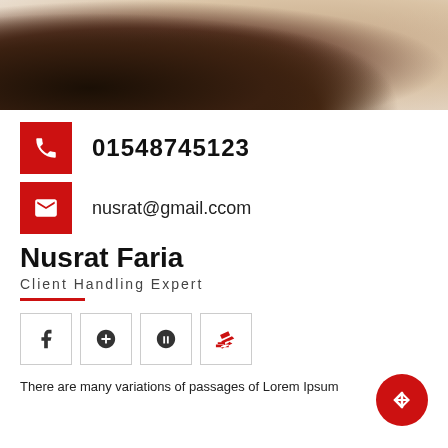[Figure (photo): Partial photo of a woman with dark hair wearing a white garment, shown from behind/side, cropped at neck/shoulder area]
01548745123
nusrat@gmail.ccom
Nusrat Faria
Client Handling Expert
[Figure (infographic): Row of four social media icon boxes: Facebook (f), Google+ (G+), Skype (S), Stack Overflow (stack icon)]
There are many variations of passages of Lorem Ipsum available, but the majority have suffered alteration in